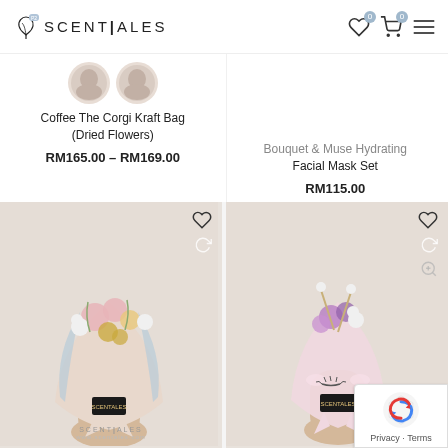SCENTALES
Coffee The Corgi Kraft Bag (Dried Flowers)
RM165.00 – RM169.00
Bouquet & Muse Hydrating Facial Mask Set
RM115.00
[Figure (photo): Hand holding a large dried flower bouquet wrapped in pink/beige paper with blue tissue accents, Scentales branded tag]
[Figure (photo): Hand holding a small dried flower bouquet with unicorn-style pink wrapping and Scentales tag]
[Figure (logo): reCAPTCHA logo with Privacy and Terms text]